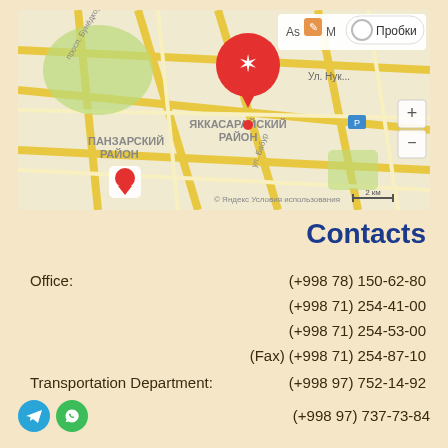[Figure (map): Yandex map showing Tashkent city area with Яккасарайский район and Панзарский район labels, a red location pin marker, and map controls including zoom +/- buttons and a traffic (Пробки) toggle. Scale shows 2 km. Copyright Яндекс, Условия использования.]
Contacts
Office:
(+998 78) 150-62-80
(+998 71) 254-41-00
(+998 71) 254-53-00
(Fax) (+998 71) 254-87-10
Transportation Department:
(+998 97) 752-14-92
[Figure (illustration): Telegram and WhatsApp icons (circular colored logos)]
(+998 97) 737-73-84